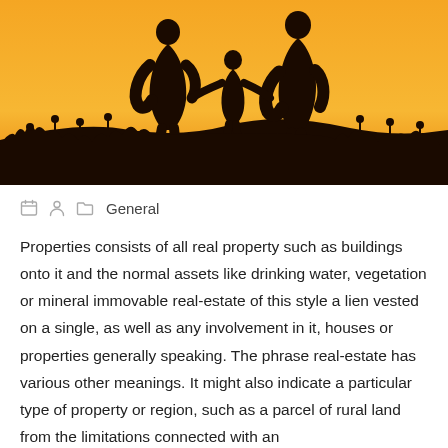[Figure (photo): Silhouette of a family (two adults and a child) standing in a field against a warm orange sunset sky with wildflowers in the foreground.]
General
Properties consists of all real property such as buildings onto it and the normal assets like drinking water, vegetation or mineral immovable real-estate of this style a lien vested on a single, as well as any involvement in it, houses or properties generally speaking. The phrase real-estate has various other meanings. It might also indicate a particular type of property or region, such as a parcel of rural land from the limitations connected with an